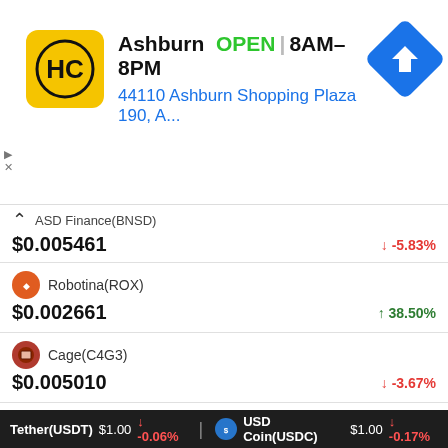[Figure (other): Advertisement banner for H&C store in Ashburn showing logo, OPEN status, hours 8AM-8PM, address 44110 Ashburn Shopping Plaza 190, A..., and navigation icon]
ASD Finance(BNSD)
$0.005461  ↓ -5.83%
Robotina(ROX)
$0.002661  ↑ 38.50%
Cage(C4G3)
$0.005010  ↓ -3.67%
YAM v2(YAMV2)
$4.70  ↓ -1.41%
Recent Posts
Tether(USDT) $1.00 ↓ -0.06%   USD Coin(USDC) $1.00 ↓ -0.17%